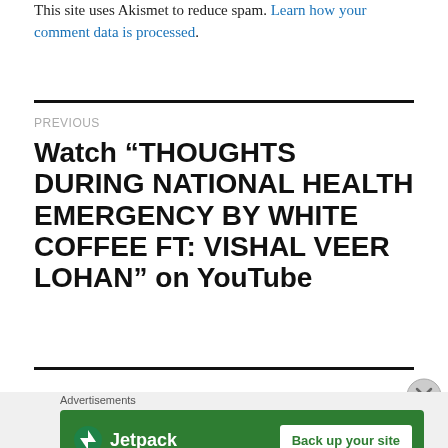This site uses Akismet to reduce spam. Learn how your comment data is processed.
PREVIOUS
Watch “THOUGHTS DURING NATIONAL HEALTH EMERGENCY BY WHITE COFFEE FT: VISHAL VEER LOHAN” on YouTube
Advertisements
[Figure (other): Jetpack advertisement banner with green background showing Jetpack logo and 'Back up your site' button]